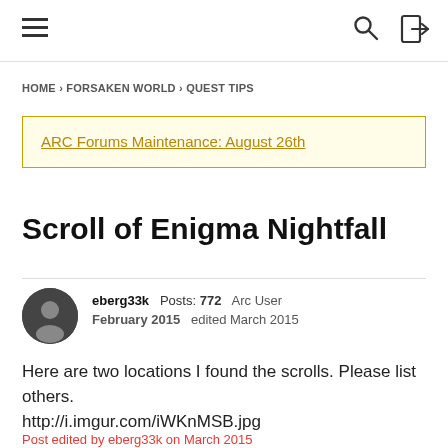≡  🔍  ⊡
HOME › FORSAKEN WORLD › QUEST TIPS
ARC Forums Maintenance: August 26th
Scroll of Enigma Nightfall
eberg33k  Posts: 772  Arc User
February 2015  edited March 2015
Here are two locations I found the scrolls. Please list others.
http://i.imgur.com/iWKnMSB.jpg
Post edited by eberg33k on March 2015